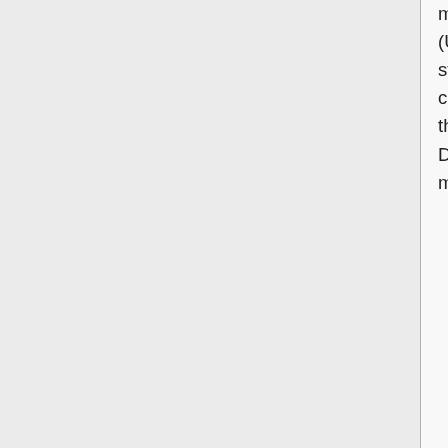makes the most sense). Zagorath (talk) 12:12, 5 September 2014 (UTC) I've only ever heard folks say there are seven continents. By strict definition of the word, North and South America do form a single continent (at least did prior to the Panama Canal cutting them apart) the vast majority of people see then as two separate continents. Dividing the Eurasian landmass in two, however, that one never made much sense. 199.27.128.117 16:53, 5 September 2014 (UTC)